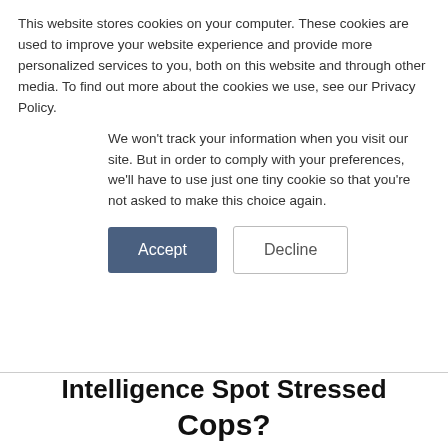This website stores cookies on your computer. These cookies are used to improve your website experience and provide more personalized services to you, both on this website and through other media. To find out more about the cookies we use, see our Privacy Policy.
We won't track your information when you visit our site. But in order to comply with your preferences, we'll have to use just one tiny cookie so that you're not asked to make this choice again.
Accept  Decline
Intelligence Spot Stressed Cops?
08 March 2019  •  3 minute read